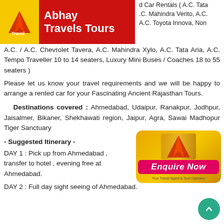[Figure (logo): Abhay Travels Tours logo with red background and yellow 'A' icon]
We provide services – Hotels and Car Rentals ( A.C. Tata ... A.C. Mahindra Verito, A.C. ... A.C. Toyota Innova, Non A.C. / A.C. Chevrolet Tavera, A.C. Mahindra Xylo, A.C. Tata Aria, A.C. Tempo Traveller 10 to 14 seaters, Luxury Mini Buses / Coaches 18 to 55 seaters )
Please let us know your travel requirements and we will be happy to arrange a rented car for your Fascinating Ancient Rajasthan Tours.
Destinations covered : Ahmedabad, Udaipur, Ranakpur, Jodhpur, Jaisalmer, Bikaner, Shekhawati region, Jaipur, Agra, Sawai Madhopur Tiger Sanctuary
- Suggested Itinerary -
DAY 1 : Pick up from Ahmedabad , transfer to hotel , evening free at Ahmedabad.
[Figure (illustration): Enquire Now button with logo background]
DAY 2 : Full day sight seeing of Ahmedabad.